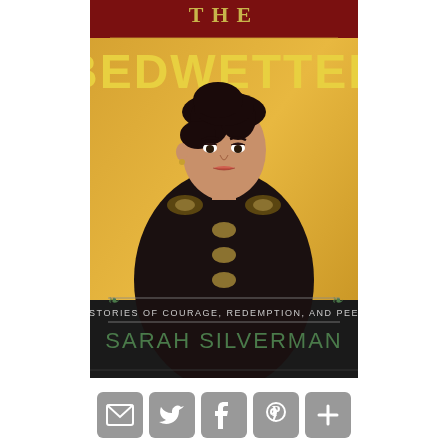[Figure (illustration): Book cover of 'The Bedwetter: Stories of Courage, Redemption, and Pee' by Sarah Silverman. Yellow/orange background with a woman in a dark military-style jacket with gold trim, dark upswept hair, serious expression. Large yellow bold title text 'THE BEDWETTER' at top. Subtitle 'STORIES OF COURAGE, REDEMPTION, AND PEE' at bottom. Author name 'SARAH SILVERMAN' partially visible at very bottom.]
[Figure (infographic): Social sharing icons row: email envelope, Twitter bird, Facebook f, Pinterest P, and a plus/more icon. All in grey rounded square buttons.]